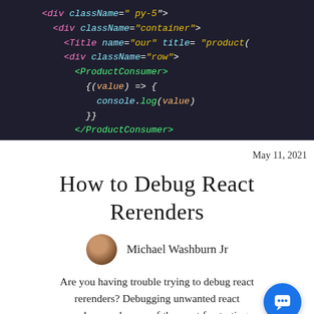[Figure (screenshot): Dark-themed code editor screenshot showing JSX/React code with colored syntax highlighting on a dark background. Code includes div className='container', Title name='our' title='product', div className='row', ProductConsumer, (value) => {, console.log(value), }}, /ProductConsumer, /div, /div]
May 11, 2021
How to Debug React Rerenders
[Figure (photo): Small circular avatar photo of Michael Washburn Jr, showing a person with brown tones]
Michael Washburn Jr
Are you having trouble trying to debug react rerenders? Debugging unwanted react rerenders can be one of the most frustrating and tricky problems when building Reacts apps.